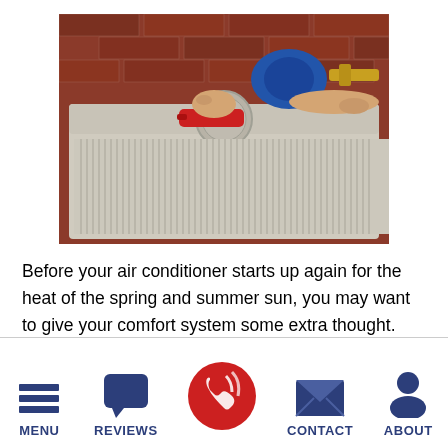[Figure (photo): HVAC technician working on an air conditioning unit outdoors, with hands holding tools near the top of the unit, brick wall in background]
Before your air conditioner starts up again for the heat of the spring and summer sun, you may want to give your comfort system some extra thought. Your air conditioning system won't run perfectly forever. But if you intervene, you may be able to help keep your unit in better shape, and
MENU | REVIEWS | (phone icon) | CONTACT | ABOUT